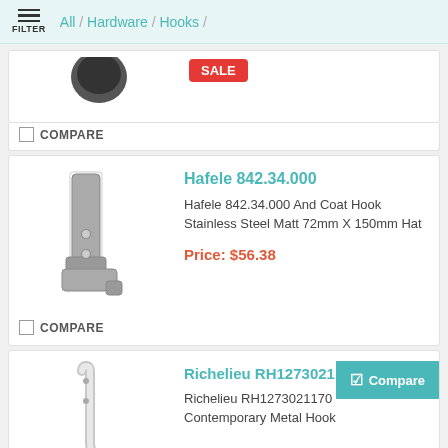FILTER / All / Hardware / Hooks /
[Figure (photo): Partial product image at top (cropped), dark round hook on white background with SALE badge]
COMPARE
Hafele 842.34.000
[Figure (photo): Stainless steel double coat hook (Hafele 842.34.000), matte finish, two screw holes visible, angled design]
Hafele 842.34.000 And Coat Hook Stainless Steel Matt 72mm X 150mm Hat
Price: $56.38
COMPARE
Richelieu RH1273021170
[Figure (photo): Contemporary metal hook (Richelieu RH1273021170), slim chrome/nickel finish, single hook design]
Richelieu RH1273021170 Contemporary Metal Hook